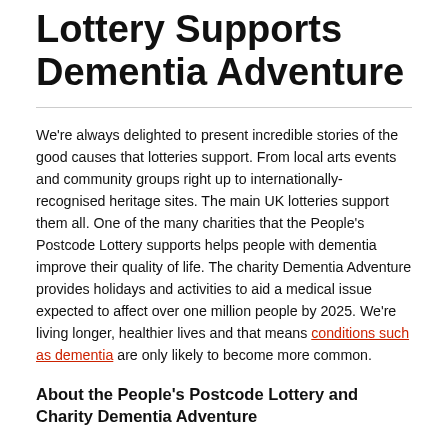Lottery Supports Dementia Adventure
We're always delighted to present incredible stories of the good causes that lotteries support. From local arts events and community groups right up to internationally-recognised heritage sites. The main UK lotteries support them all. One of the many charities that the People's Postcode Lottery supports helps people with dementia improve their quality of life. The charity Dementia Adventure provides holidays and activities to aid a medical issue expected to affect over one million people by 2025. We're living longer, healthier lives and that means conditions such as dementia are only likely to become more common.
About the People's Postcode Lottery and Charity Dementia Adventure